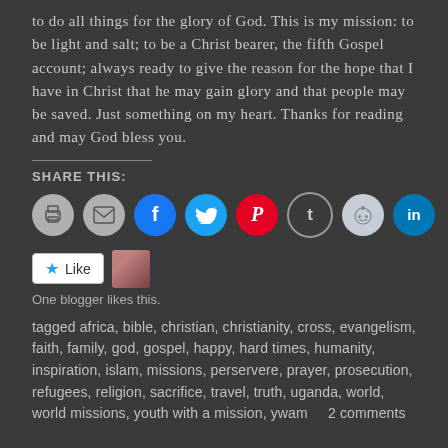to do all things for the glory of God. This is my mission: to be light and salt; to be a Christ bearer, the fifth Gospel account; always ready to give the reason for the hope that I have in Christ that he may gain glory and that people may be saved. Just something on my heart. Thanks for reading and may God bless you.
SHARE THIS:
[Figure (infographic): Row of social share icon buttons: print, email, Facebook, Twitter, Pinterest, Tumblr, Reddit, LinkedIn]
[Figure (infographic): Like button with star icon and a blogger avatar thumbnail. Text: One blogger likes this.]
tagged africa, bible, christian, christianity, cross, evangelism, faith, family, god, gospel, happy, hard times, humanity, inspiration, islam, missions, perservere, prayer, prosecution, refugees, religion, sacrifice, travel, truth, uganda, world, world missions, youth with a mission, ywam   2 comments